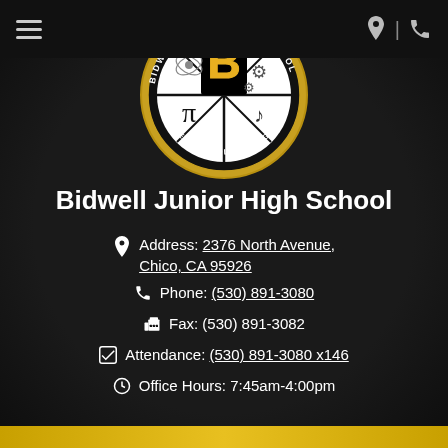[Figure (logo): Bidwell Junior High School circular logo with STEAM theme: science, technology, engineering, art, math. Gold and black colors with large 'B' in center.]
Bidwell Junior High School
Address: 2376 North Avenue, Chico, CA 95926
Phone: (530) 891-3080
Fax: (530) 891-3082
Attendance: (530) 891-3080 x146
Office Hours: 7:45am-4:00pm